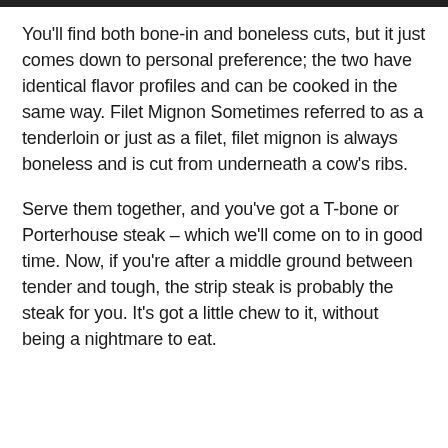You'll find both bone-in and boneless cuts, but it just comes down to personal preference; the two have identical flavor profiles and can be cooked in the same way. Filet Mignon Sometimes referred to as a tenderloin or just as a filet, filet mignon is always boneless and is cut from underneath a cow's ribs.
Serve them together, and you've got a T-bone or Porterhouse steak – which we'll come on to in good time. Now, if you're after a middle ground between tender and tough, the strip steak is probably the steak for you. It's got a little chew to it, without being a nightmare to eat.